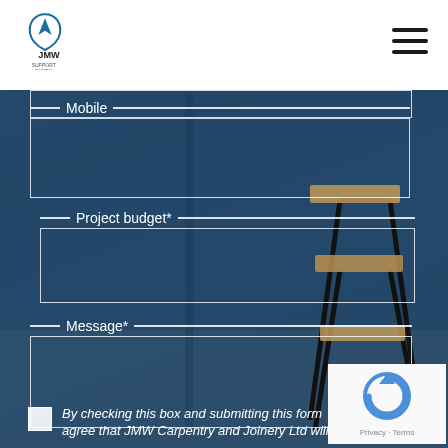[Figure (screenshot): Website header with JMW logo on left and hamburger menu icon on right, white background]
[Figure (photo): Background photo of interior space with blue walls, metal bar stools with wooden seats, gray tile floor]
Mobile
Project budget*
Message*
By checking this box and submitting this form agree that JMW Carpentry and Joinery Ltd will
[Figure (logo): reCAPTCHA widget showing circular arrow logo with Privacy and Terms text]